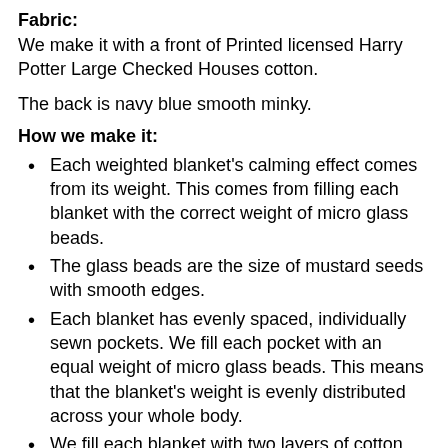Fabric:
We make it with a front of Printed licensed Harry Potter Large Checked Houses cotton.
The back is navy blue smooth minky.
How we make it:
Each weighted blanket's calming effect comes from its weight. This comes from filling each blanket with the correct weight of micro glass beads.
The glass beads are the size of mustard seeds with smooth edges.
Each blanket has evenly spaced, individually sewn pockets. We fill each pocket with an equal weight of micro glass beads. This means that the blanket's weight is evenly distributed across your whole body.
We fill each blanket with two layers of cotton wadding. This keeps the glass beads evenly spread through each